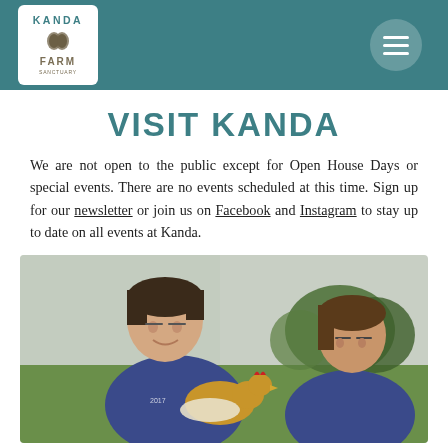[Figure (logo): Kanda Farm logo in white box on teal header with hamburger menu button]
VISIT KANDA
We are not open to the public except for Open House Days or special events. There are no events scheduled at this time. Sign up for our newsletter or join us on Facebook and Instagram to stay up to date on all events at Kanda.
[Figure (photo): Two young people in blue t-shirts holding a chicken outdoors on green grass with trees in background]